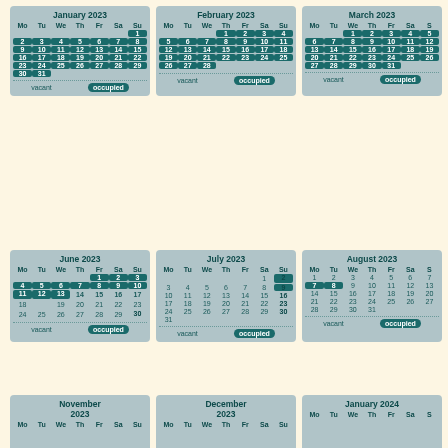[Figure (other): Monthly availability calendars for January 2023 through January 2024, showing occupied (dark teal highlighted) and vacant days. Three columns of calendars per row. Row 1: January 2023, February 2023, March 2023. Row 2: June 2023, July 2023, August 2023. Row 3 (partial): November 2023, December 2023, January 2024. Each calendar has a legend with 'vacant' and an 'occupied' badge.]